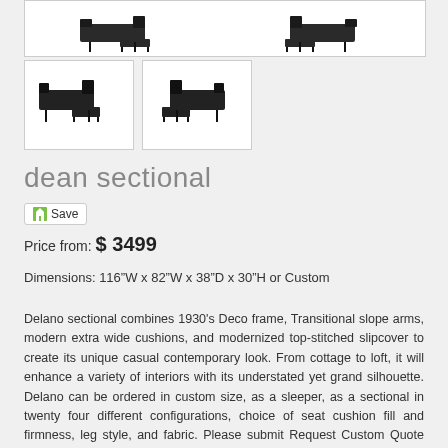[Figure (photo): Top product image showing dark sectional sofa from two angles on white background]
[Figure (photo): Thumbnail image 1: dark sectional sofa with chaise, left-facing orientation]
[Figure (photo): Thumbnail image 2: dark sectional sofa with chaise, right-facing orientation]
dean sectional
Save
Price from: $ 3499
Dimensions: 116"W x 82"W x 38"D x 30"H or Custom
Delano sectional combines 1930's Deco frame, Transitional slope arms, modern extra wide cushions, and modernized top-stitched slipcover to create its unique casual contemporary look. From cottage to loft, it will enhance a variety of interiors with its understated yet grand silhouette. Delano can be ordered in custom size, as a sleeper, as a sectional in twenty four different configurations, choice of seat cushion fill and firmness, leg style, and fabric. Please submit Request Custom Quote Form for custom pricing and special requests. If you have a difficult area to design for, want to go COM, or just want an